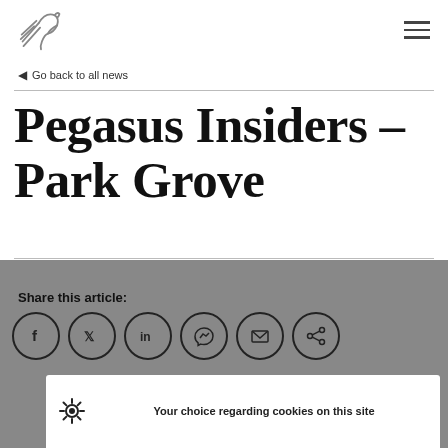[Figure (logo): Pegasus logo - stylized horse/wing mark in grey outline]
Go back to all news
Pegasus Insiders – Park Grove
Share this article:
[Figure (infographic): Row of social share icon circles: Facebook, Twitter, LinkedIn, Messenger, Email, Share]
Your choice regarding cookies on this site